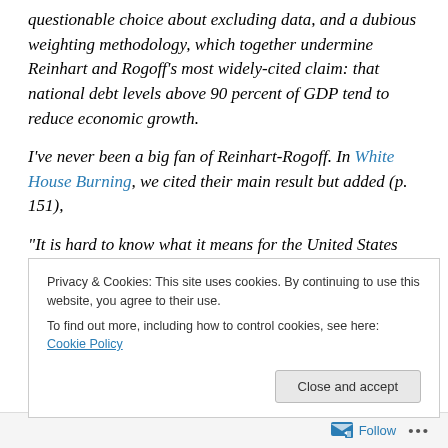questionable choice about excluding data, and a dubious weighting methodology, which together undermine Reinhart and Rogoff's most widely-cited claim: that national debt levels above 90 percent of GDP tend to reduce economic growth.
I've never been a big fan of Reinhart-Rogoff. In White House Burning, we cited their main result but added (p. 151),
“It is hard to know what it means for the United States because even their findings for advanced economies are
Privacy & Cookies: This site uses cookies. By continuing to use this website, you agree to their use. To find out more, including how to control cookies, see here: Cookie Policy
Close and accept
Follow ...